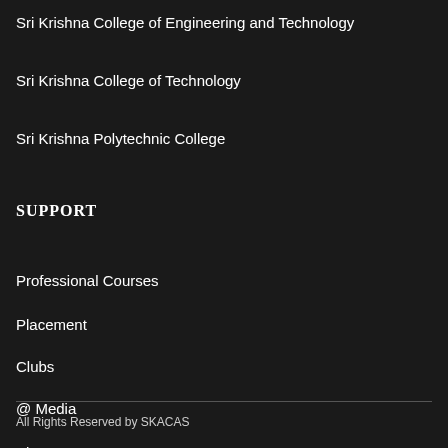Sri Krishna College of Engineering and Technology
Sri Krishna College of Technology
Sri Krishna Polytechnic College
SUPPORT
Professional Courses
Placement
Clubs
@ Media
Skacas News
All Rights Reserved by SKACAS